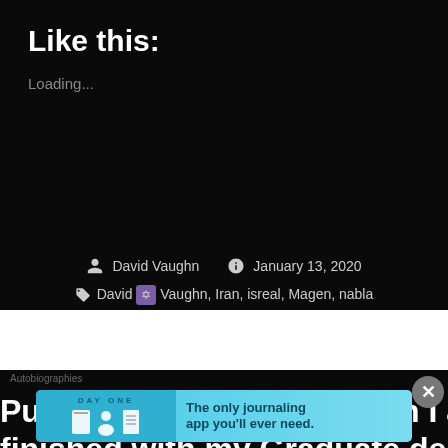Like this:
Loading...
David Vaughn   January 13, 2020
David ✡ Vaughn, Iran, isreal, Magen, nabla
Published by David Vaughn I am finished with my Graduate degree
[Figure (screenshot): Day One journaling app advertisement banner with light blue background, showing app icons and tagline 'The only journaling app you'll ever need.']